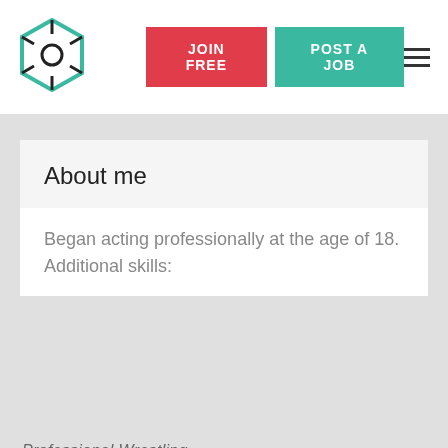JOIN FREE  POST A JOB
About me
Began acting professionally at the age of 18. Additional skills:
Professional Wrestling
We use cookies to ensure you have a personalised user experience, as well as to analyse our traffic and tailor content, ads and social media features. We share some of this information with our technology, analytics and marketing partners. Privacy Policy
Native accent   English
Languages   English
ACCEPT COOKIES